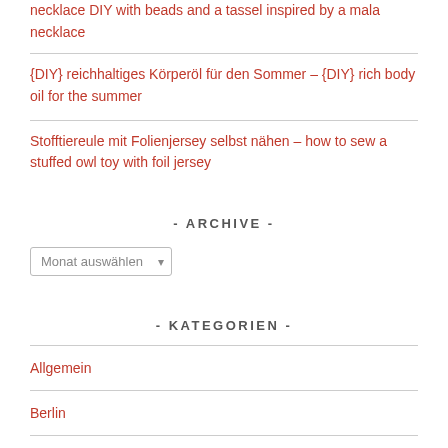necklace DIY with beads and a tassel inspired by a mala necklace
{DIY} reichhaltiges Körperöl für den Sommer – {DIY} rich body oil for the summer
Stofftiereule mit Folienjersey selbst nähen – how to sew a stuffed owl toy with foil jersey
- ARCHIVE -
Monat auswählen
- KATEGORIEN -
Allgemein
Berlin